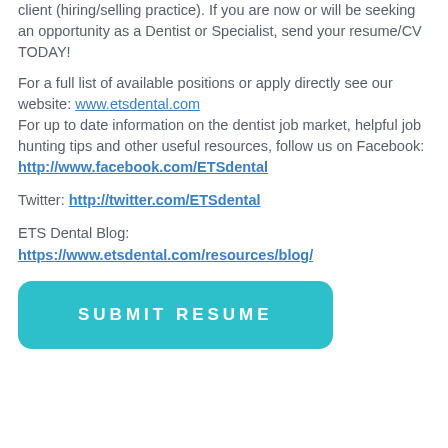client (hiring/selling practice). If you are now or will be seeking an opportunity as a Dentist or Specialist, send your resume/CV TODAY!
For a full list of available positions or apply directly see our website: www.etsdental.com
For up to date information on the dentist job market, helpful job hunting tips and other useful resources, follow us on Facebook: http://www.facebook.com/ETSdental
Twitter: http://twitter.com/ETSdental
ETS Dental Blog:
https://www.etsdental.com/resources/blog/
[Figure (other): Teal rounded rectangle button with text SUBMIT RESUME in white bold spaced letters]